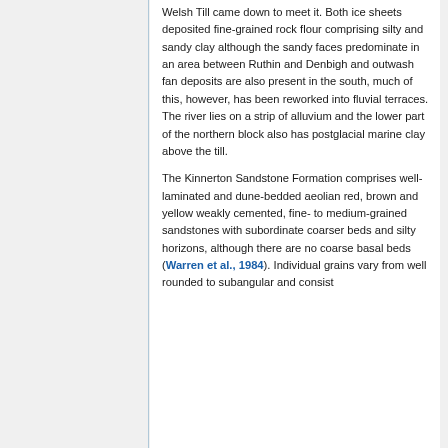Welsh Till came down to meet it. Both ice sheets deposited fine-grained rock flour comprising silty and sandy clay although the sandy faces predominate in an area between Ruthin and Denbigh and outwash fan deposits are also present in the south, much of this, however, has been reworked into fluvial terraces. The river lies on a strip of alluvium and the lower part of the northern block also has postglacial marine clay above the till.
The Kinnerton Sandstone Formation comprises well-laminated and dune-bedded aeolian red, brown and yellow weakly cemented, fine- to medium-grained sandstones with subordinate coarser beds and silty horizons, although there are no coarse basal beds (Warren et al., 1984). Individual grains vary from well rounded to subangular and consist